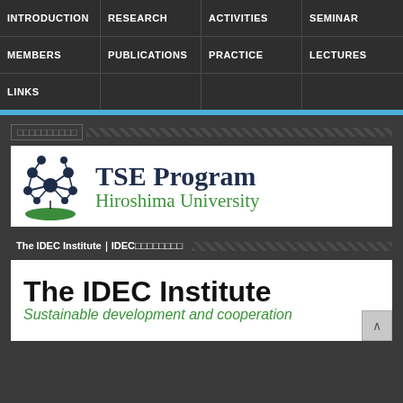INTRODUCTION | RESEARCH | ACTIVITIES | SEMINAR | MEMBERS | PUBLICATIONS | PRACTICE | LECTURES | LINKS
□□□□□□□□□□
[Figure (logo): TSE Program Hiroshima University banner logo with molecular network graphic]
The IDEC Institute｜IDEC□□□□□□□□
[Figure (logo): The IDEC Institute banner — Sustainable development and cooperation]